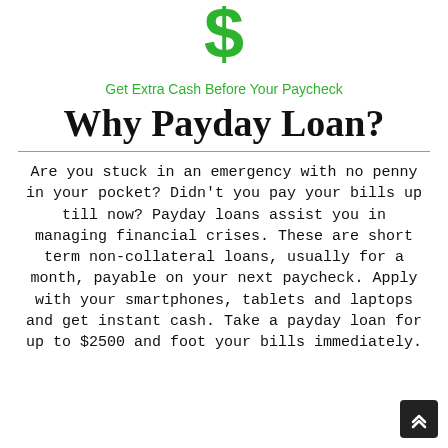[Figure (logo): Green dollar sign / question mark logo icon at top center]
Get Extra Cash Before Your Paycheck
Why Payday Loan?
Are you stuck in an emergency with no penny in your pocket? Didn't you pay your bills up till now? Payday loans assist you in managing financial crises. These are short term non-collateral loans, usually for a month, payable on your next paycheck. Apply with your smartphones, tablets and laptops and get instant cash. Take a payday loan for up to $2500 and foot your bills immediately.